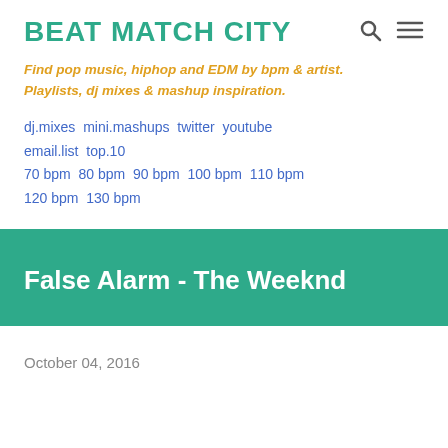BEAT MATCH CITY
Find pop music, hiphop and EDM by bpm & artist. Playlists, dj mixes & mashup inspiration.
dj.mixes mini.mashups twitter youtube email.list top.10 70 bpm 80 bpm 90 bpm 100 bpm 110 bpm 120 bpm 130 bpm
False Alarm - The Weeknd
October 04, 2016